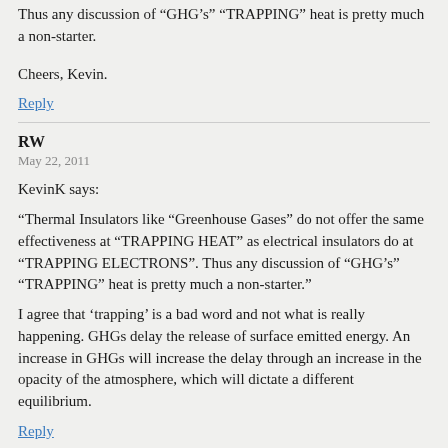Thus any discussion of “GHG’s” “TRAPPING” heat is pretty much a non-starter.
Cheers, Kevin.
Reply
RW
May 22, 2011
KevinK says:
“Thermal Insulators like “Greenhouse Gases” do not offer the same effectiveness at “TRAPPING HEAT” as electrical insulators do at “TRAPPING ELECTRONS”. Thus any discussion of “GHG’s” “TRAPPING” heat is pretty much a non-starter.”
I agree that ‘trapping’ is a bad word and not what is really happening. GHGs delay the release of surface emitted energy. An increase in GHGs will increase the delay through an increase in the opacity of the atmosphere, which will dictate a different equilibrium.
Reply